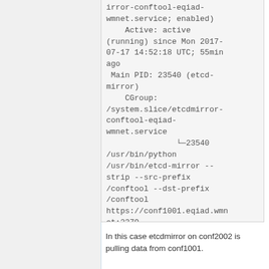(irror-conftool-eqiad-wmnet.service; enabled)
    Active: active (running) since Mon 2017-07-17 14:52:18 UTC; 55min ago
 Main PID: 23540 (etcd-mirror)
    CGroup: /system.slice/etcdmirror-conftool-eqiad-wmnet.service
                └─23540 /usr/bin/python /usr/bin/etcd-mirror --strip --src-prefix /conftool --dst-prefix /conftool https://conf1001.eqiad.wmnet:2379 http://localhost:2378
In this case etcdmirror on conf2002 is pulling data from conf1001.